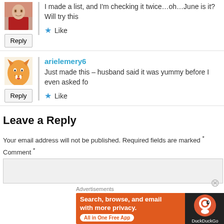I made a list, and I'm checking it twice…oh…June is it? Will try this
Like
arielemery6
Just made this – husband said it was yummy before I even asked fo
Like
Leave a Reply
Your email address will not be published. Required fields are marked *
Comment *
Advertisements
[Figure (screenshot): DuckDuckGo advertisement banner: orange background with text 'Search, browse, and email with more privacy. All in One Free App' and DuckDuckGo logo on dark background]